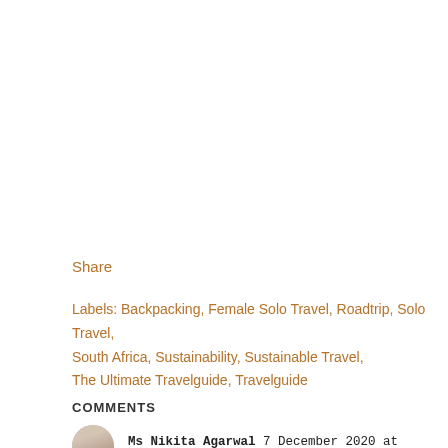Share
Labels: Backpacking, Female Solo Travel, Roadtrip, Solo Travel, South Africa, Sustainability, Sustainable Travel, The Ultimate Travelguide, Travelguide
COMMENTS
Ms Nikita Agarwal 7 December 2020 at 03:35